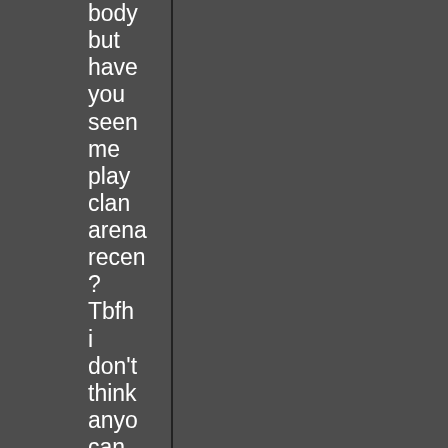body but have you seen me play clan arena recently? Tbfh i don't think anyone can beat me when i feel comfy and i'm ultra motiv I have a drag